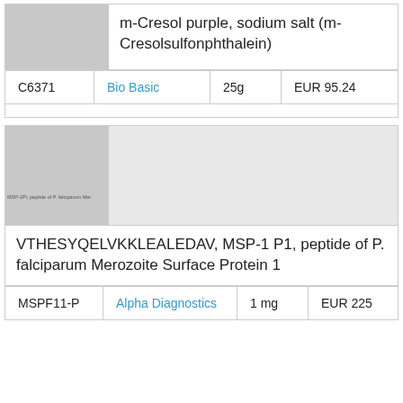[Figure (photo): Gray placeholder image for m-Cresol purple product]
m-Cresol purple, sodium salt (m-Cresolsulfonphthalein)
| Catalog | Supplier | Quantity | Price |
| --- | --- | --- | --- |
| C6371 | Bio Basic | 25g | EUR 95.24 |
[Figure (photo): Gray placeholder image for VTHESYQELVKKLEALEDAV MSP-1 P1 peptide product with label text: MSP-1PI, peptide of P. falciparum Mer...]
VTHESYQELVKKLEALEDAV, MSP-1 P1, peptide of P. falciparum Merozoite Surface Protein 1
| Catalog | Supplier | Quantity | Price |
| --- | --- | --- | --- |
| MSPF11-P | Alpha Diagnostics | 1 mg | EUR 225 |